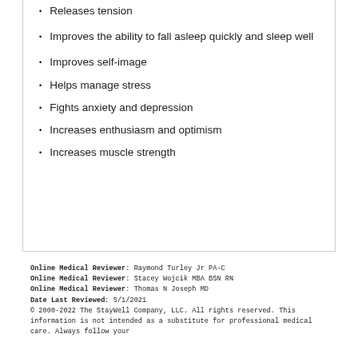Releases tension
Improves the ability to fall asleep quickly and sleep well
Improves self-image
Helps manage stress
Fights anxiety and depression
Increases enthusiasm and optimism
Increases muscle strength
Online Medical Reviewer: Raymond Turley Jr PA-C
Online Medical Reviewer: Stacey Wojcik MBA BSN RN
Online Medical Reviewer: Thomas N Joseph MD
Date Last Reviewed: 5/1/2021
© 2000-2022 The StayWell Company, LLC. All rights reserved. This information is not intended as a substitute for professional medical care. Always follow your